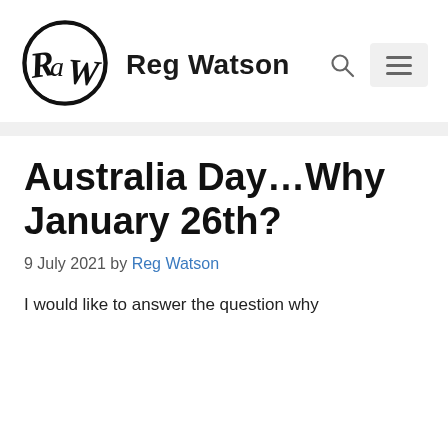[Figure (logo): Circular hand-drawn logo with letters RAW inside a hand-drawn circle]
Reg Watson
Australia Day…Why January 26th?
9 July 2021 by Reg Watson
I would like to answer the question why